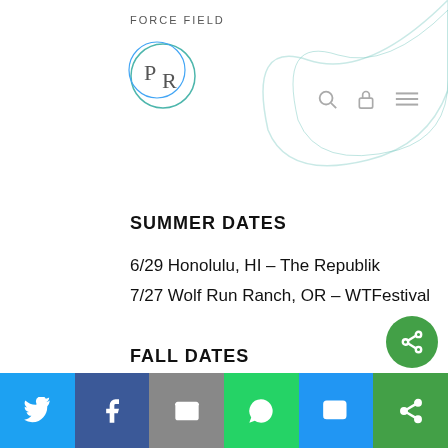FORCE FIELD
SUMMER DATES
6/29 Honolulu, HI – The Republik
7/27 Wolf Run Ranch, OR – WTFestival
FALL DATES
8/28 Lincoln, NE – Bourbon Theatre
8/29 Iowa City, IA – Iowa City Yacht Club
8/30 Minneapolis, MN – 7th Street Entry
8/31 Chicago, IL – North Coast Fest
Twitter | Facebook | Email | WhatsApp | SMS | More